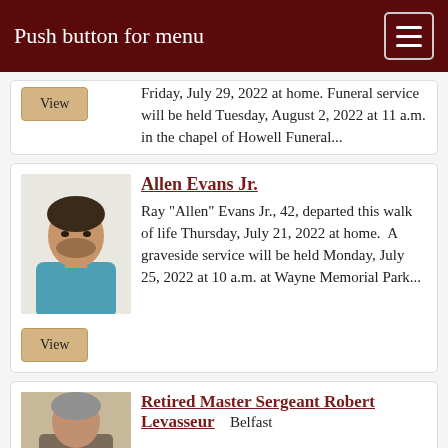Push button for menu
Friday, July 29, 2022 at home. Funeral service will be held Tuesday, August 2, 2022 at 11 a.m. in the chapel of Howell Funeral...
Allen Evans Jr.
Ray "Allen" Evans Jr., 42, departed this walk of life Thursday, July 21, 2022 at home.  A graveside service will be held Monday, July 25, 2022 at 10 a.m. at Wayne Memorial Park...
Retired Master Sergeant Robert Levasseur
Belfast